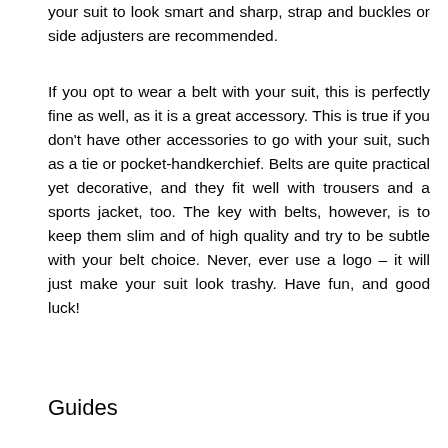your suit to look smart and sharp, strap and buckles or side adjusters are recommended.
If you opt to wear a belt with your suit, this is perfectly fine as well, as it is a great accessory. This is true if you don't have other accessories to go with your suit, such as a tie or pocket-handkerchief. Belts are quite practical yet decorative, and they fit well with trousers and a sports jacket, too. The key with belts, however, is to keep them slim and of high quality and try to be subtle with your belt choice. Never, ever use a logo – it will just make your suit look trashy. Have fun, and good luck!
Guides